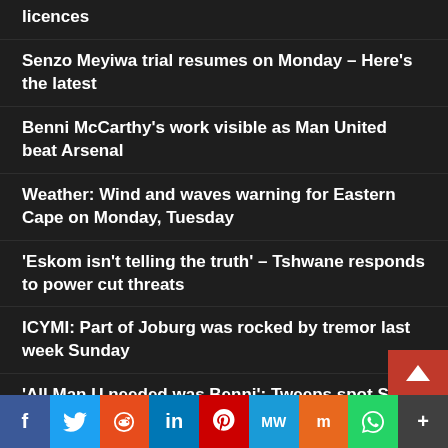licences
Senzo Meyiwa trial resumes on Monday – Here's the latest
Benni McCarthy's work visible as Man United beat Arsenal
Weather: Wind and waves warning for Eastern Cape on Monday, Tuesday
'Eskom isn't telling the truth' – Tshwane responds to power cut threats
ICYMI: Part of Joburg was rocked by tremor last week Sunday
'All Man U needed was Benni': Tweeps spot SA star during match
Here's how to reboot your sleep and RECHARGE yo